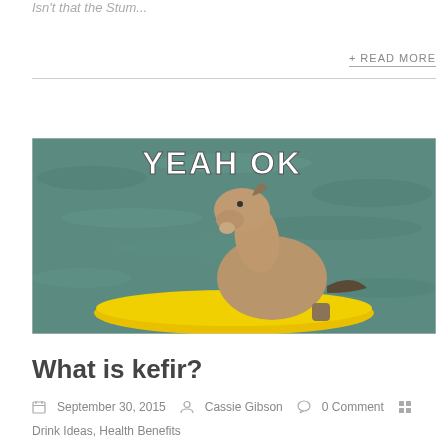Isn't that the Stum...
+ READ MORE
[Figure (photo): A goat floating in water on a yellow boat/raft with 'YEAH OK' text overlay — internet meme image]
What is kefir?
September 30, 2015   Cassie Gibson   0 Comment
Drink Ideas, Health Benefits